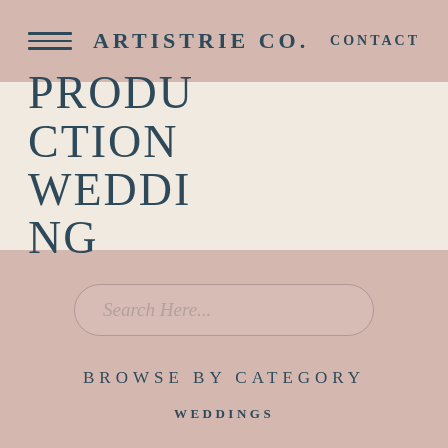ARTISTRIE CO.  CONTACT
PRODUCTION WEDDING
Search Here...
BROWSE BY CATEGORY
WEDDINGS